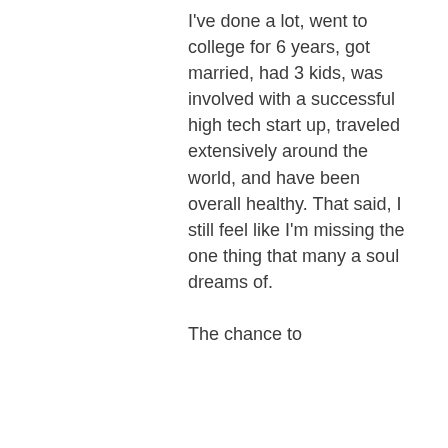I've done a lot, went to college for 6 years, got married, had 3 kids, was involved with a successful high tech start up, traveled extensively around the world, and have been overall healthy. That said, I still feel like I'm missing the one thing that many a soul dreams of.

The chance to